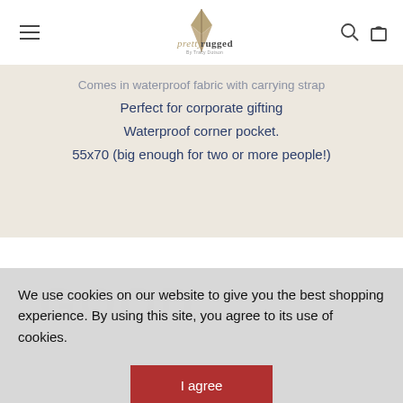prettyrugged (logo)
Comes in waterproof fabric with carrying strap
Perfect for corporate gifting
Waterproof corner pocket.
55x70 (big enough for two or more people!)
[Figure (logo): Partial 'GOOD' text in large gray letters, partially visible at bottom of white section]
We use cookies on our website to give you the best shopping experience. By using this site, you agree to its use of cookies.
I agree